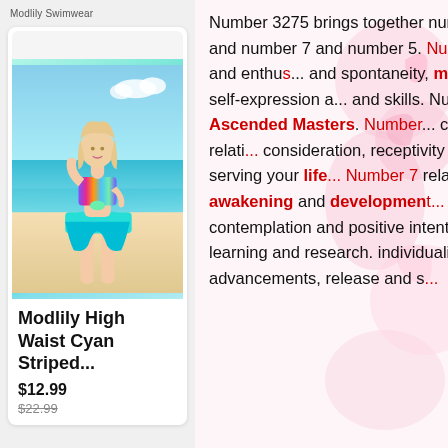Modlily Swimwear
[Figure (photo): Product photo of a blonde model wearing a teal/cyan high waist striped two-piece swimsuit with a knotted top, standing on a beach. Displayed as a product card with a white background and rounded corners.]
Modlily High Waist Cyan Striped...
$12.99
Number 3275 brings together number 3 and number 2, and number 7 and number 5. Num... creativity, affability and enthu... and spontaneity, manifesting intelligence, self-expression a... and skills. Number 3 also reso... Ascended Masters. Number... charm, partnerships and relati... consideration, receptivity and harmony, and serving your life... Number 7 relates to feelings a... awakening and developmen... determination, contemplation and positive intentions, empa... higher-learning and research. individuality, making major life advancements, release and s...